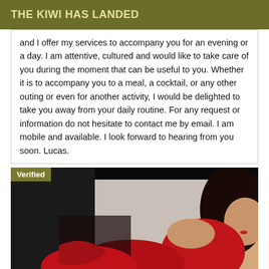THE KIWI HAS LANDED
and I offer my services to accompany you for an evening or a day. I am attentive, cultured and would like to take care of you during the moment that can be useful to you. Whether it is to accompany you to a meal, a cocktail, or any other outing or even for another activity, I would be delighted to take you away from your daily routine. For any request or information do not hesitate to contact me by email. I am mobile and available. I look forward to hearing from you soon. Lucas.
[Figure (photo): A woman in red lace clothing posing with a 'Verified' badge overlay in the top left corner, against a dark background.]